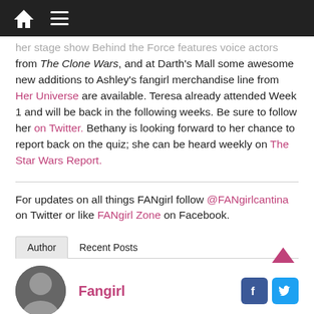Home | Menu
her stage show Behind the Force features voice actors from The Clone Wars, and at Darth's Mall some awesome new additions to Ashley's fangirl merchandise line from Her Universe are available. Teresa already attended Week 1 and will be back in the following weeks. Be sure to follow her on Twitter. Bethany is looking forward to her chance to report back on the quiz; she can be heard weekly on The Star Wars Report.
For updates on all things FANgirl follow @FANgirlcantina on Twitter or like FANgirl Zone on Facebook.
Author | Recent Posts
Fangirl